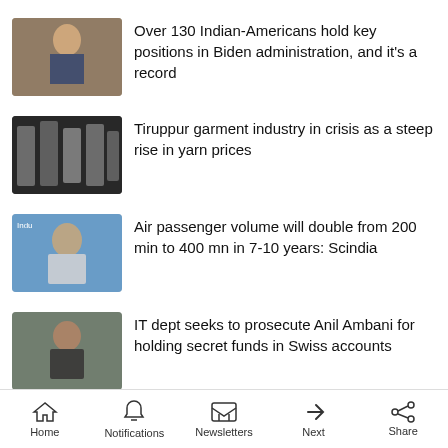Over 130 Indian-Americans hold key positions in Biden administration, and it's a record
Tiruppur garment industry in crisis as a steep rise in yarn prices
Air passenger volume will double from 200 min to 400 mn in 7-10 years: Scindia
IT dept seeks to prosecute Anil Ambani for holding secret funds in Swiss accounts
DreamFolks Services IPO opens today — Check out important details related to the IPO
View All Latest
Home  Notifications  Newsletters  Next  Share